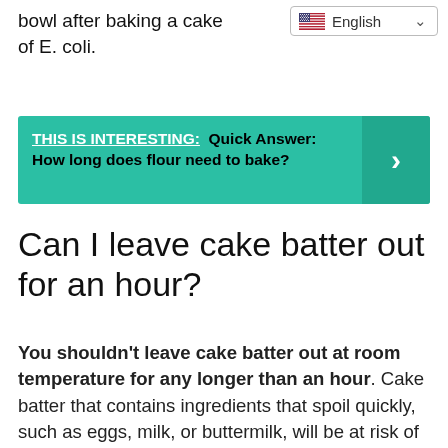bowl after baking a cake of E. coli.
[Figure (screenshot): Language selector dropdown showing English with US flag]
[Figure (infographic): THIS IS INTERESTING: Quick Answer: How long does flour need to bake? green banner with right arrow]
Can I leave cake batter out for an hour?
You shouldn't leave cake batter out at room temperature for any longer than an hour. Cake batter that contains ingredients that spoil quickly, such as eggs, milk, or buttermilk, will be at risk of going bad. If you are to store your batter for a while, make sure to store it covered in the